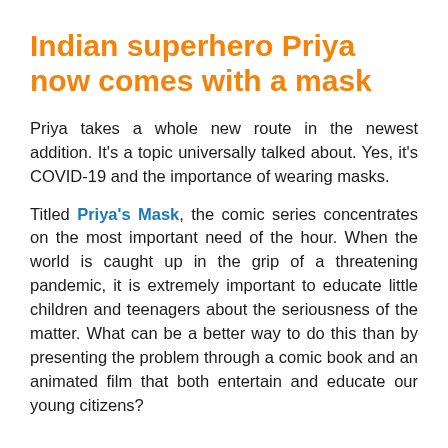Indian superhero Priya now comes with a mask
Priya takes a whole new route in the newest addition. It’s a topic universally talked about. Yes, it’s COVID-19 and the importance of wearing masks.
Titled Priya’s Mask, the comic series concentrates on the most important need of the hour. When the world is caught up in the grip of a threatening pandemic, it is extremely important to educate little children and teenagers about the seriousness of the matter. What can be a better way to do this than by presenting the problem through a comic book and an animated film that both entertain and educate our young citizens?